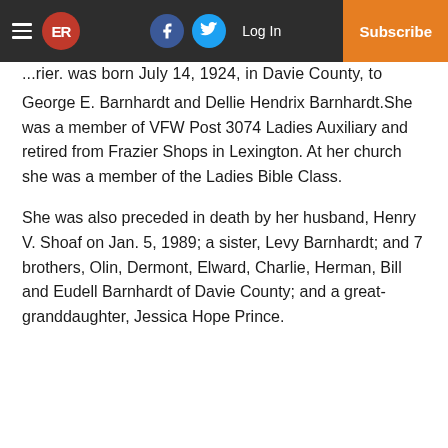ER | Log In | Subscribe
...rier. She was born July 14, 1924, in Davie County, to George E. Barnhardt and Dellie Hendrix Barnhardt.She was a member of VFW Post 3074 Ladies Auxiliary and retired from Frazier Shops in Lexington. At her church she was a member of the Ladies Bible Class.
She was also preceded in death by her husband, Henry V. Shoaf on Jan. 5, 1989; a sister, Levy Barnhardt; and 7 brothers, Olin, Dermont, Elward, Charlie, Herman, Bill and Eudell Barnhardt of Davie County; and a great-granddaughter, Jessica Hope Prince.